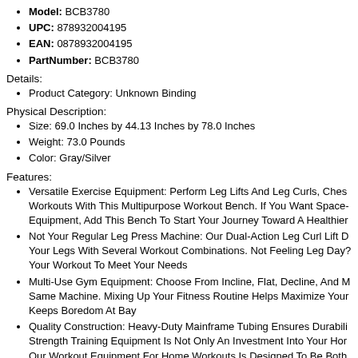Model: BCB3780
UPC: 878932004195
EAN: 0878932004195
PartNumber: BCB3780
Details:
Product Category: Unknown Binding
Physical Description:
Size: 69.0 Inches by 44.13 Inches by 78.0 Inches
Weight: 73.0 Pounds
Color: Gray/Silver
Features:
Versatile Exercise Equipment: Perform Leg Lifts And Leg Curls, Ches Workouts With This Multipurpose Workout Bench. If You Want Space- Equipment, Add This Bench To Start Your Journey Toward A Healthier
Not Your Regular Leg Press Machine: Our Dual-Action Leg Curl Lift D Your Legs With Several Workout Combinations. Not Feeling Leg Day? Your Workout To Meet Your Needs
Multi-Use Gym Equipment: Choose From Incline, Flat, Decline, And M Same Machine. Mixing Up Your Fitness Routine Helps Maximize Your Keeps Boredom At Bay
Quality Construction: Heavy-Duty Mainframe Tubing Ensures Durabili Strength Training Equipment Is Not Only An Investment Into Your Hor Our Workout Equipment For Home Workouts Is Designed To Be Both
Click here for more information